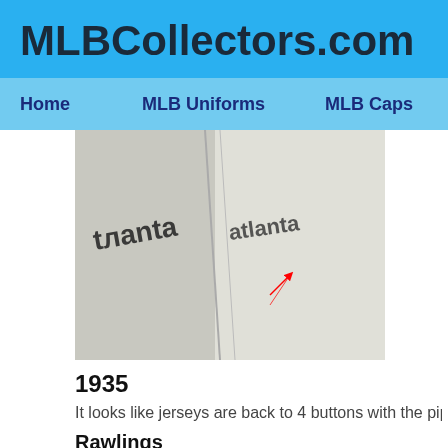MLBCollectors.com
Home   MLB Uniforms   MLB Caps
[Figure (photo): Close-up photo of Atlanta Braves jersey, black and white, showing 'Atlanta' lettering on two overlapping jerseys with a red arrow annotation]
1935
It looks like jerseys are back to 4 buttons with the piping down to jus
Rawlings
[Figure (photo): Black and white photo of a player wearing a cap, with a zoom icon overlay in the top left corner]